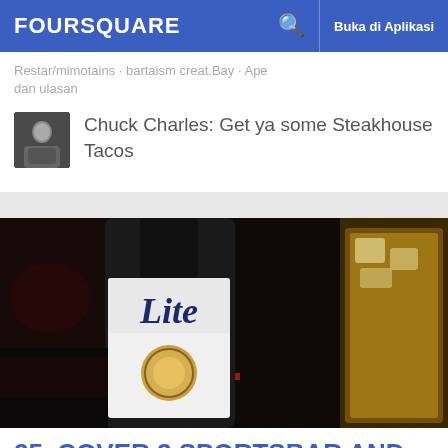FOURSQUARE  Buka di Aplikasi
dan ulasan
Chuck Charles: Get ya some Steakhouse Tacos
[Figure (photo): Photo of a Miller Lite beer bottle next to a glass of iced drink on a dark surface with red neon light reflection]
25. COVER 2 SPORTSBAR AND LOUNGE